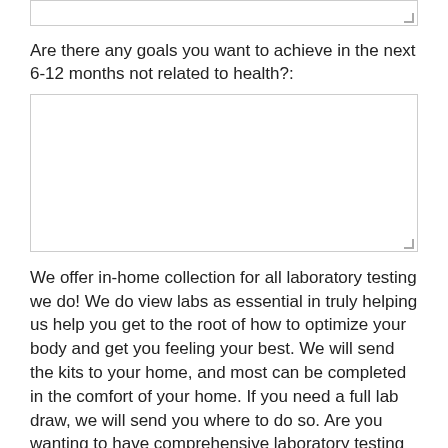[text area — top, partially visible]
Are there any goals you want to achieve in the next 6-12 months not related to health?:
[text area — empty input field]
We offer in-home collection for all laboratory testing we do! We do view labs as essential in truly helping us help you get to the root of how to optimize your body and get you feeling your best. We will send the kits to your home, and most can be completed in the comfort of your home. If you need a full lab draw, we will send you where to do so. Are you wanting to have comprehensive laboratory testing completed for in depth data on biomarkers such as nutritional and of and into the assessment health...